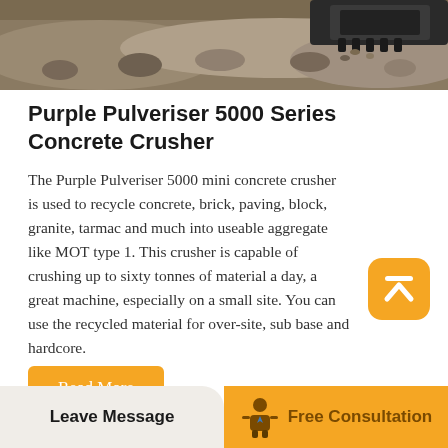[Figure (photo): Aerial/ground-level photo of crushed gravel/aggregate material with heavy machinery bucket visible, outdoor construction site]
Purple Pulveriser 5000 Series Concrete Crusher
The Purple Pulveriser 5000 mini concrete crusher is used to recycle concrete, brick, paving, block, granite, tarmac and much into useable aggregate like MOT type 1. This crusher is capable of crushing up to sixty tonnes of material a day, a great machine, especially on a small site. You can use the recycled material for over-site, sub base and hardcore.
[Figure (other): Yellow rounded-square button with upward arrow chevron icon (scroll to top)]
Read More
Leave Message | Free Consultation